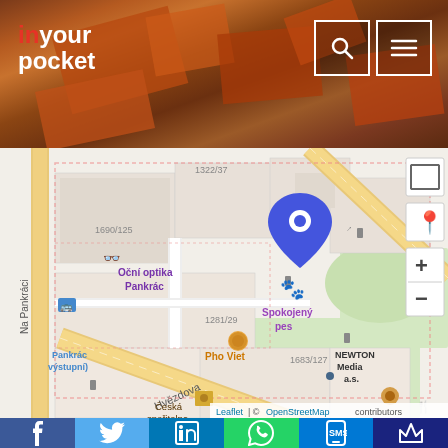[Figure (logo): In Your Pocket logo - white text with red 'in' on dark background]
[Figure (map): OpenStreetMap/Leaflet interactive map showing Hvezdova street area in Prague, with a blue location pin marking a business, showing street names including Hvezdova and Na Pankraci, landmarks including Ocni optika Pankrac, Spokojeny pes, Pho Viet, NEWTON Media a.s., Ceska sporitelna, and Pankrac vystupni metro station]
Leaflet | © OpenStreetMap contributors
[Figure (infographic): Social media sharing bar with icons for Facebook (blue), Twitter (light blue), LinkedIn (blue), WhatsApp (green), SMS/mobile (blue), and Mango (dark blue/purple)]